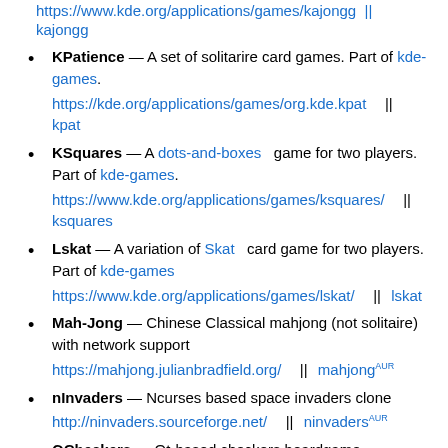KPatience — A set of solitarire card games. Part of kde-games. https://kde.org/applications/games/org.kde.kpat || kpat
KSquares — A dots-and-boxes game for two players. Part of kde-games. https://www.kde.org/applications/games/ksquares/ || ksquares
Lskat — A variation of Skat card game for two players. Part of kde-games https://www.kde.org/applications/games/lskat/ || lskat
Mah-Jong — Chinese Classical mahjong (not solitaire) with network support https://mahjong.julianbradfield.org/ || mahjong AUR
nInvaders — Ncurses based space invaders clone http://ninvaders.sourceforge.net/ || ninvaders AUR
QCheckers — Qt-based checkers boardgame.